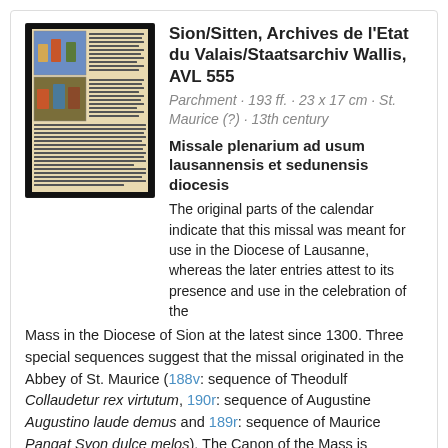[Figure (photo): Illuminated manuscript page showing decorated text columns with miniature illustrations of religious scenes]
Sion/Sitten, Archives de l'Etat du Valais/Staatsarchiv Wallis, AVL 555
Parchment · 193 ff. · 23 x 17 cm · St. Maurice (?) · 13th century
Missale plenarium ad usum lausannensis et sedunensis diocesis
The original parts of the calendar indicate that this missal was meant for use in the Diocese of Lausanne, whereas the later entries attest to its presence and use in the celebration of the Mass in the Diocese of Sion at the latest since 1300. Three special sequences suggest that the missal originated in the Abbey of St. Maurice (188v: sequence of Theodulf Collaudetur rex virtutum, 190r: sequence of Augustine Augustino laude demus and 189r: sequence of Maurice Pangat Syon dulce melos). The Canon of the Mass is decorated with an illuminated initial, with the Vere dignum, and with a frame showing the crucifixion, the Virgin and St. John (97v). The most important holidays are introduced with decorated initials on a gold background (4v, 13rb, 17ra, 18ra etc.). In 1981, the Valais State Archives purchased this codex on the antiquarian book market. (ber)
Online Since: 10/13/2016